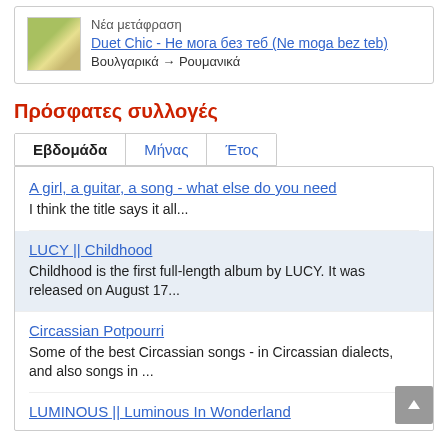Νέα μετάφραση
Duet Chic - Не мога без теб (Ne moga bez teb)
Βουλγαρικά → Ρουμανικά
Πρόσφατες συλλογές
Εβδομάδα | Μήνας | Έτος
A girl, a guitar, a song - what else do you need
I think the title says it all...
LUCY || Childhood
Childhood is the first full-length album by LUCY. It was released on August 17...
Circassian Potpourri
Some of the best Circassian songs - in Circassian dialects, and also songs in ...
LUMINOUS || Luminous In Wonderland